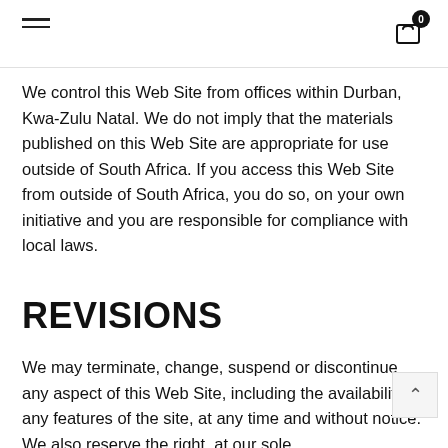Navigation header with hamburger menu and cart icon showing 0 items
We control this Web Site from offices within Durban, Kwa-Zulu Natal. We do not imply that the materials published on this Web Site are appropriate for use outside of South Africa. If you access this Web Site from outside of South Africa, you do so, on your own initiative and you are responsible for compliance with local laws.
REVISIONS
We may terminate, change, suspend or discontinue any aspect of this Web Site, including the availability of any features of the site, at any time and without notice. We also reserve the right, at our sole